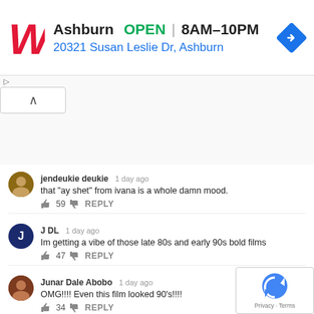[Figure (other): Walgreens advertisement banner showing the red W logo, Ashburn location, OPEN status, hours 8AM-10PM, address 20321 Susan Leslie Dr Ashburn, and a blue navigation diamond icon]
jendeukie deukie 1 day ago
that "ay shet" from ivana is a whole damn mood.
👍 59 👎 REPLY
J DL 1 day ago
Im getting a vibe of those late 80s and early 90s bold films
👍 47 👎 REPLY
Junar Dale Abobo 1 day ago
OMG!!!! Even this film looked 90's!!!!
👍 34 👎 REPLY
ELOUIS 1 day ago
I was thinking ano yung ladaba bc of the title hahahaha 😁 this is super cut
👍 11 👎 REPLY
Jackie C. 23 hours ago